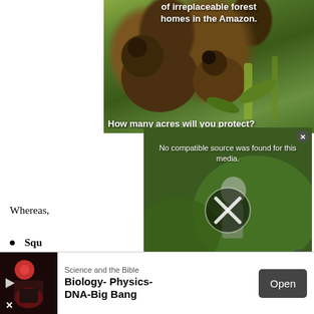[Figure (photo): Amazon wildlife advertisement showing monkeys in a forest with text 'of irreplaceable forest homes in the Amazon.' and 'How many acres will you protect?']
[Figure (screenshot): Video player overlay showing 'No compatible source was found for this media.' with an X/error icon over a green tropical background with a person visible]
Whereas,
Squ
[Figure (photo): Bottom banner advertisement for 'Science and the Bible' - Biology- Physics- DNA-Big Bang with an Open button]